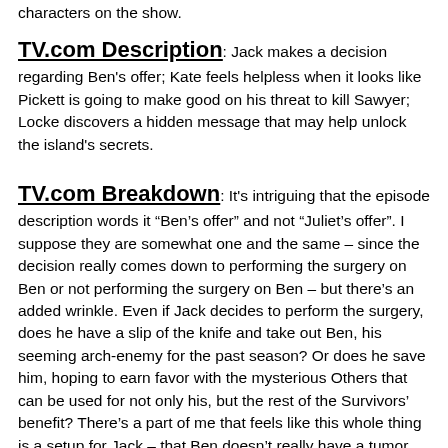characters on the show.
TV.com Description
: Jack makes a decision regarding Ben's offer; Kate feels helpless when it looks like Pickett is going to make good on his threat to kill Sawyer; Locke discovers a hidden message that may help unlock the island's secrets.
TV.com Breakdown
: It's intriguing that the episode description words it “Ben’s offer” and not “Juliet’s offer”. I suppose they are somewhat one and the same – since the decision really comes down to performing the surgery on Ben or not performing the surgery on Ben – but there’s an added wrinkle. Even if Jack decides to perform the surgery, does he have a slip of the knife and take out Ben, his seeming arch-enemy for the past season? Or does he save him, hoping to earn favor with the mysterious Others that can be used for not only his, but the rest of the Survivors’ benefit? There’s a part of me that feels like this whole thing is a setup for Jack – that Ben doesn’t really have a tumor, and this is more of a test of Jack’s “goodness” (more on this